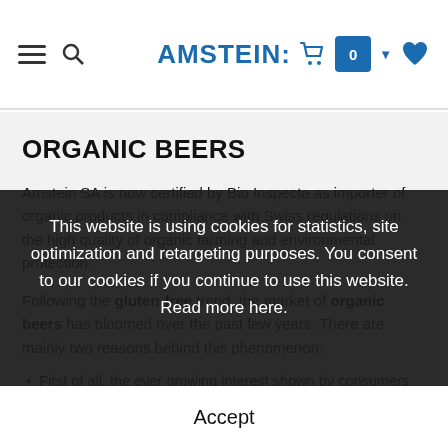AMSTEIN: [navigation header with hamburger menu, search, cart, wishlist]
ORGANIC BEERS
Amstein SA is now certified by Bio Inspecta as importer of organic products in compliance with Swiss regulations on the high quality of organic farming and environmental protection.
Following the gluten-free trend, the market of organic beers has bloomed over the past few years. There are mainly two reasons behind this phenomenon:
First of all, the ever growing interest shown by consumers and producers in turning to organic farming and environmentally-friendly practices.
Second of all, the opportunity for brewers to offer high-quality products with the Organic Farming label. Despite strict, ensuring that the food product is fruit of a healthy, eco-
This website is using cookies for statistics, site optimization and retargeting purposes. You consent to our cookies if you continue to use this website. Read more here.
Accept